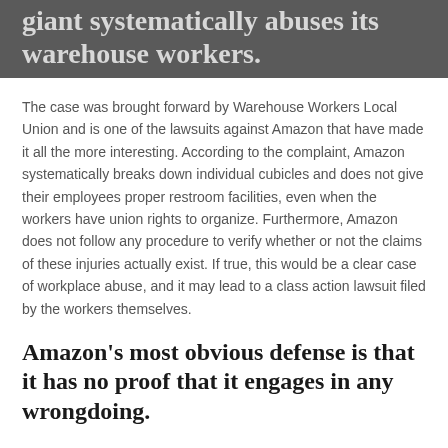giant systematically abuses its warehouse workers.
The case was brought forward by Warehouse Workers Local Union and is one of the lawsuits against Amazon that have made it all the more interesting. According to the complaint, Amazon systematically breaks down individual cubicles and does not give their employees proper restroom facilities, even when the workers have union rights to organize. Furthermore, Amazon does not follow any procedure to verify whether or not the claims of these injuries actually exist. If true, this would be a clear case of workplace abuse, and it may lead to a class action lawsuit filed by the workers themselves.
Amazon's most obvious defense is that it has no proof that it engages in any wrongdoing.
However, this defense overlooks several important facts. For one, according to The Washington Post, Amazon regularly pays over five hundred million dollars in damages to settle lawsuits brought